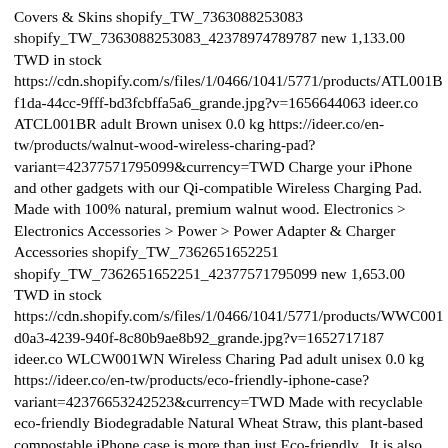Covers & Skins shopify_TW_7363088253083 shopify_TW_7363088253083_42378974789787 new 1,133.00 TWD in stock https://cdn.shopify.com/s/files/1/0466/1041/5771/products/ATL001Bf1da-44cc-9fff-bd3fcbffa5a6_grande.jpg?v=1656644063 ideer.co ATCL001BR adult Brown unisex 0.0 kg https://ideer.co/en-tw/products/walnut-wood-wireless-charing-pad?variant=42377571795099&currency=TWD Charge your iPhone and other gadgets with our Qi-compatible Wireless Charging Pad. Made with 100% natural, premium walnut wood. Electronics > Electronics Accessories > Power > Power Adapter & Charger Accessories shopify_TW_7362651652251 shopify_TW_7362651652251_42377571795099 new 1,653.00 TWD in stock https://cdn.shopify.com/s/files/1/0466/1041/5771/products/WWC001d0a3-4239-940f-8c80b9ae8b92_grande.jpg?v=1652717187 ideer.co WLCW001WN Wireless Charing Pad adult unisex 0.0 kg https://ideer.co/en-tw/products/eco-friendly-iphone-case?variant=42376653242523&currency=TWD Made with recyclable eco-friendly Biodegradable Natural Wheat Straw, this plant-based compostable iPhone case is more than just Eco-friendly.  It is also water-resistant and shock-resistant, making sure that your iPhone is well protected. Electronics > Communications > Telephony > Mobile Phone Accessories > Mobile Phone Cases shopify_TW_7362497642651 shopify_TW_7362497642651_42376653242523 new 1,255.00